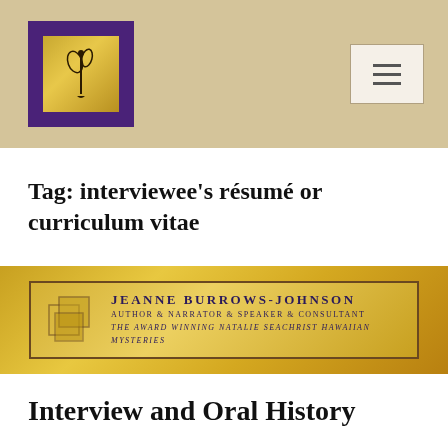Tag: interviewee's résumé or curriculum vitae
[Figure (logo): Jeanne Burrows-Johnson author website banner logo with overlapping gold squares and decorative floral border. Text reads: JEANNE BURROWS-JOHNSON, Author & Narrator & Speaker & Consultant, The Award Winning Natalie Seachrist Hawaiian Mysteries]
Interview and Oral History